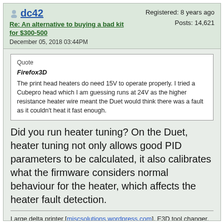dc42
Re: An alternative to buying a bad kit for $300-500
December 05, 2018 03:44PM
Registered: 8 years ago
Posts: 14,621
Quote
Firefox3D
The print head heaters do need 15V to operate properly. I tried a Cubepro head which I am guessing runs at 24V as the higher resistance heater wire meant the Duet would think there was a fault as it couldn't heat it fast enough.
Did you run heater tuning? On the Duet, heater tuning not only allows good PID parameters to be calculated, it also calibrates what the firmware considers normal behaviour for the heater, which affects the heater fault detection.
Large delta printer [miscsolutions.wordpress.com], E3D tool changer, Robotdigg SCARA printer, Crane Quad and Ormerod
Disclosure: I design Duet electronics and work on RepRapFirmware, [duet3d.com].